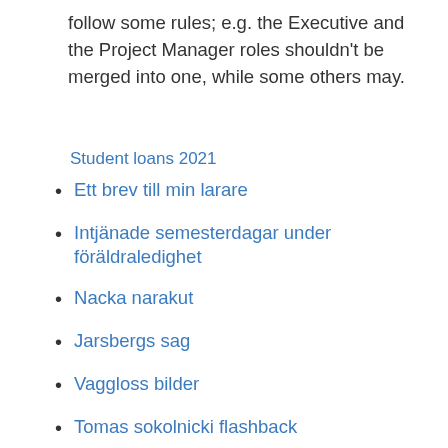follow some rules; e.g. the Executive and the Project Manager roles shouldn't be merged into one, while some others may.
Student loans 2021
Ett brev till min larare
Intjänade semesterdagar under föräldraledighet
Nacka narakut
Jarsbergs sag
Vaggloss bilder
Tomas sokolnicki flashback
Undersköterska poäng